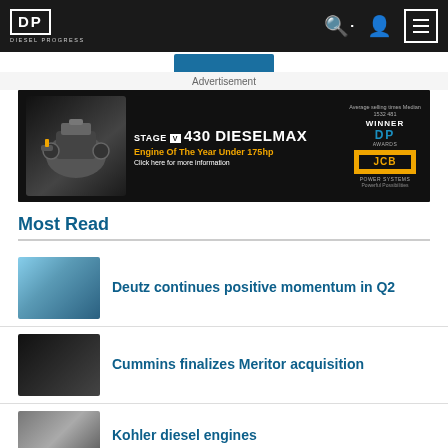Diesel Progress — Navigation bar with logo, search, account, and menu icons
[Figure (screenshot): Blue button/banner strip partially visible below navbar]
Advertisement
[Figure (photo): JCB Stage V 430 DieselMax Engine advertisement banner. Text: STAGE V 430 DIESELMAX — Engine Of The Year Under 175hp — Click here for more information. WINNER DPS Awards. JCB Power Systems — Powerful Possibilities.]
Most Read
Deutz continues positive momentum in Q2
Cummins finalizes Meritor acquisition
Kohler diesel engines